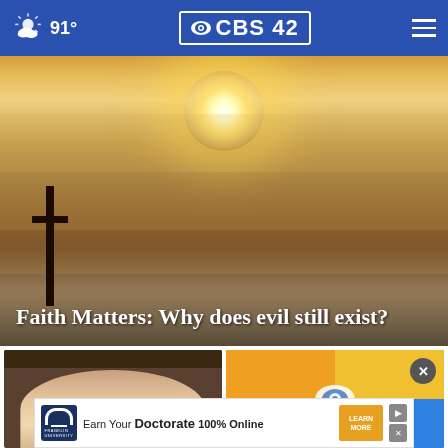91° CBS42
[Figure (photo): A cross silhouette against a hazy, foggy sunrise or sunset sky with warm orange-golden light]
Faith Matters: Why does evil still exist?
[Figure (photo): A person's face/portrait, partially visible at the bottom left card]
[Figure (screenshot): CBS news graphic with blue, yellow and orange quadrant design]
[Figure (other): Franklin University advertisement banner: Earn Your Doctorate 100% Online - Learn More]